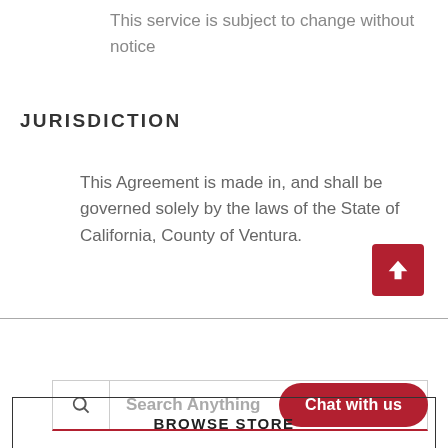This service is subject to change without notice
JURISDICTION
This Agreement is made in, and shall be governed solely by the laws of the State of California, County of Ventura.
Search Anything
Chat with us
BROWSE STORE